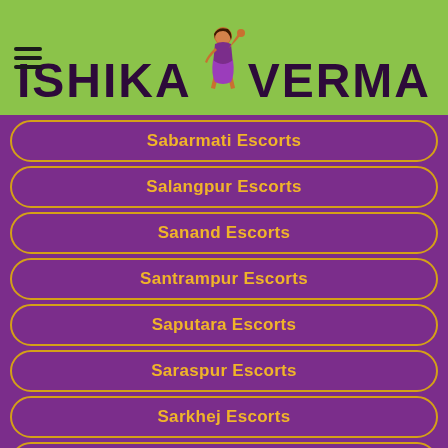ISHIKA VERMA
Sabarmati Escorts
Salangpur Escorts
Sanand Escorts
Santrampur Escorts
Saputara Escorts
Saraspur Escorts
Sarkhej Escorts
Savarkundla Escorts
Sg-highway Escorts
Shahibaug Escorts
Sidhnur Escorts